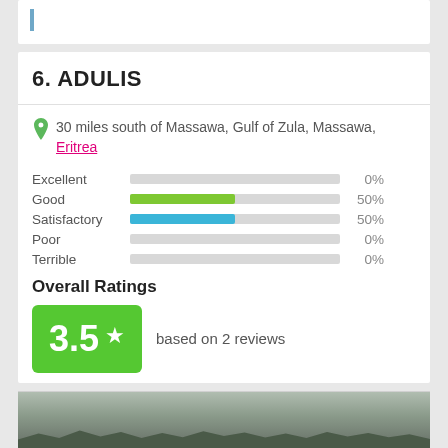6. ADULIS
30 miles south of Massawa, Gulf of Zula, Massawa, Eritrea
[Figure (bar-chart): Rating distribution]
Overall Ratings
3.5 based on 2 reviews
[Figure (photo): Landscape photo of a flat terrain with sparse trees along the horizon under an overcast sky]